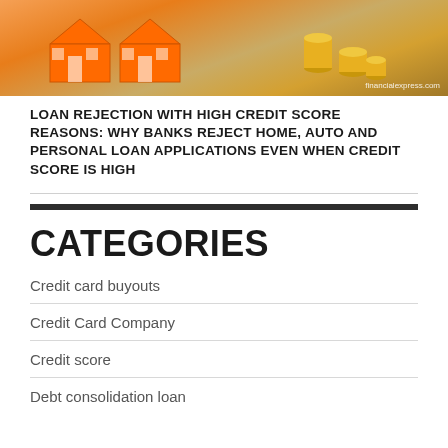[Figure (photo): Photo of an orange house model with coin stacks on a wooden surface, with watermark 'financialexpress.com' in bottom right]
LOAN REJECTION WITH HIGH CREDIT SCORE REASONS: WHY BANKS REJECT HOME, AUTO AND PERSONAL LOAN APPLICATIONS EVEN WHEN CREDIT SCORE IS HIGH
CATEGORIES
Credit card buyouts
Credit Card Company
Credit score
Debt consolidation loan